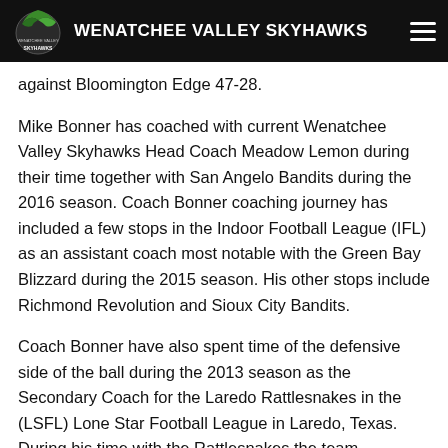WENATCHEE VALLEY SKYHAWKS
against Bloomington Edge 47-28.
Mike Bonner has coached with current Wenatchee Valley Skyhawks Head Coach Meadow Lemon during their time together with San Angelo Bandits during the 2016 season. Coach Bonner coaching journey has included a few stops in the Indoor Football League (IFL) as an assistant coach most notable with the Green Bay Blizzard during the 2015 season. His other stops include Richmond Revolution and Sioux City Bandits.
Coach Bonner have also spent time of the defensive side of the ball during the 2013 season as the Secondary Coach for the Laredo Rattlesnakes in the (LSFL) Lone Star Football League in Laredo, Texas.  During his time with the Rattlesnakes the team accomplished success with an 8-4 record and was awarded Best